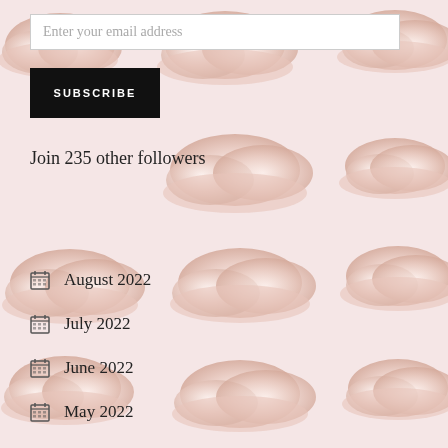Enter your email address
SUBSCRIBE
Join 235 other followers
[Figure (illustration): Repeating pattern of soft pink fluffy clouds on a light pink background]
August 2022
July 2022
June 2022
May 2022